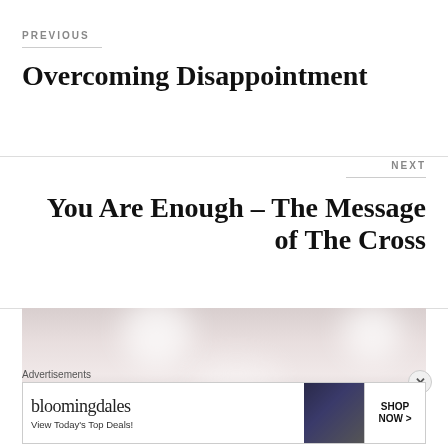PREVIOUS
Overcoming Disappointment
NEXT
You Are Enough – The Message of The Cross
[Figure (photo): Interior room photo with recessed ceiling lights and blurred foreground]
Advertisements
[Figure (other): Bloomingdale's advertisement banner reading 'View Today's Top Deals!' with SHOP NOW button and model in hat]